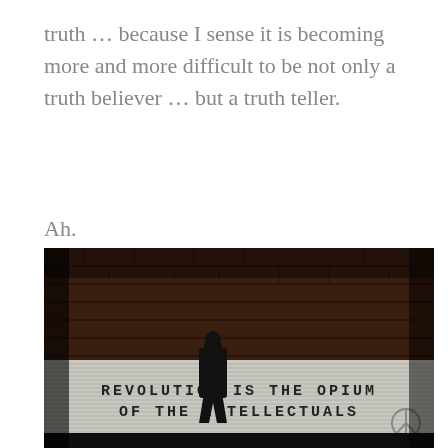truth … because I sense it is becoming more and more difficult to be not only a truth believer … but a truth teller.
Ah.
[Figure (photo): Dark urban street scene. A person in a long dark coat walks in front of a corrugated metal wall with text painted on it reading 'REVOLUTION IS THE OPIUM OF THE INTELLECTUALS'. A brick building is visible in the background. A peace symbol is visible on the right side of the metal wall.]